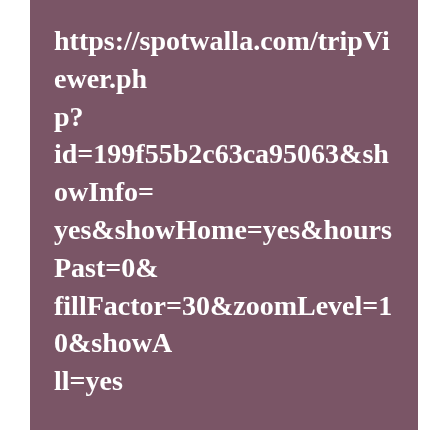https://spotwalla.com/tripViewer.php?id=199f55b2c63ca95063&showInfo=yes&showHome=yes&hoursPast=0&fillFactor=30&zoomLevel=10&showAll=yes
Translate
Select Language
Powered by Google Translate